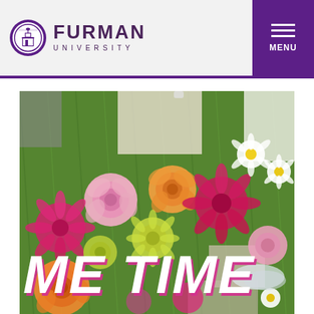[Figure (logo): Furman University logo — circular seal icon on left, text FURMAN in large bold purple letters, UNIVERSITY in spaced smaller letters below]
[Figure (other): Purple menu button with three horizontal lines (hamburger icon) and MENU label in white text]
[Figure (photo): Overhead photo of colorful flowers (pink roses, orange roses, magenta daisy-like flowers, white daisies, yellow-green chrysanthemums) arranged on green grass with people's hands visible. Large bold italic text 'ME TIME' overlaid at the bottom in white with pink/magenta shadow.]